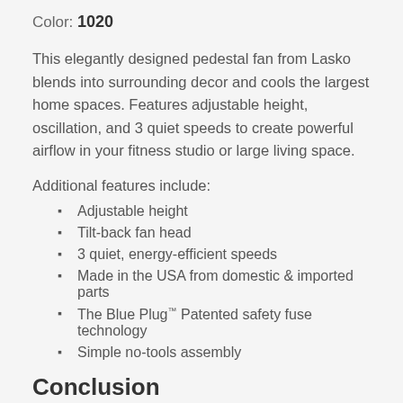Color: 1020
This elegantly designed pedestal fan from Lasko blends into surrounding decor and cools the largest home spaces. Features adjustable height, oscillation, and 3 quiet speeds to create powerful airflow in your fitness studio or large living space.
Additional features include:
Adjustable height
Tilt-back fan head
3 quiet, energy-efficient speeds
Made in the USA from domestic & imported parts
The Blue Plug™ Patented safety fuse technology
Simple no-tools assembly
Conclusion